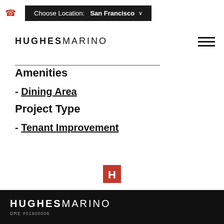Choose Location: San Francisco
[Figure (logo): Hughes Marino logo - bold HUGHES followed by light MARINO]
Amenities
- Dining Area
Project Type
- Tenant Improvement
[Figure (logo): Hughes Marino H icon mark in red]
HUGHES MARINO DRE #01900006